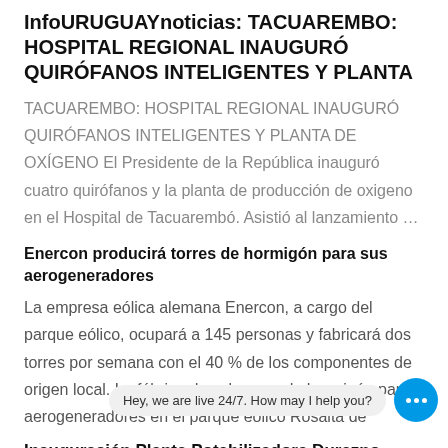InfoURUGUAYnoticias: TACUAREMBO: HOSPITAL REGIONAL INAUGURÓ QUIRÓFANOS INTELIGENTES Y PLANTA
TACUAREMBO: HOSPITAL REGIONAL INAUGURÓ QUIRÓFANOS INTELIGENTES Y PLANTA DE OXÍGENO El Presidente de la República inauguró cuatro quirófanos y la planta de producción de oxigeno en el Hospital de Tacuarembó. Asistió al lanzamiento ...
Enercon producirá torres de hormigón para sus aerogeneradores
La empresa eólica alemana Enercon, a cargo del parque eólico, ocupará a 145 personas y fabricará dos torres por semana con el 40 % de los componentes de origen local. La fábrica de columnas de hormigón para aerogeneradores en el parque eólico Rosalta de...
Inauguración Planta Potabilizadora Durazno